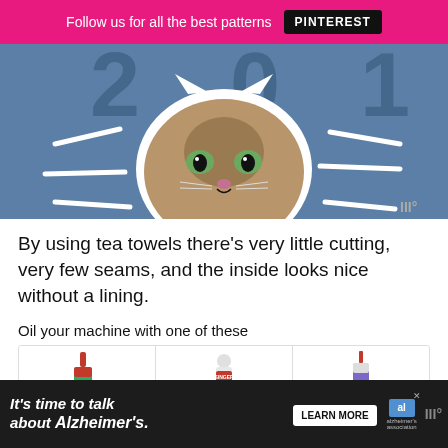Follow us for all the best patterns  PINTEREST
[Figure (photo): Blue tote bag with cat face design and decorative dashes, cat face cutout in center]
By using tea towels there’s very little cutting, very few seams, and the inside looks nice without a lining.
Oil your machine with one of these
[Figure (photo): Three sewing machine oil products: green Singer oil bottle, clear Singer oil bottle, and a purple brand bottle]
[Figure (infographic): Ad banner: It’s time to talk about Alzheimer’s. LEARN MORE. Alzheimer’s association logo.]